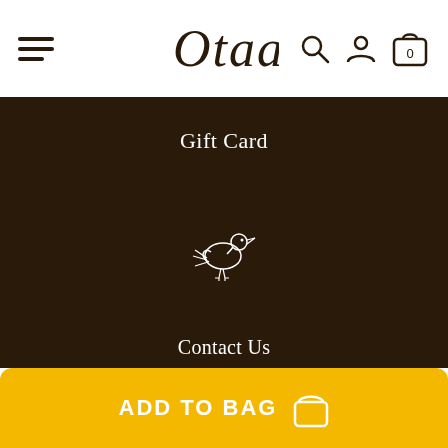[Figure (logo): Otaa brand logo in cursive script font]
Gift Card
[Figure (illustration): Small white line-art bird/duck icon]
Contact Us
Retailers
Wholesale
Media
Shipping
Returns
ADD TO BAG